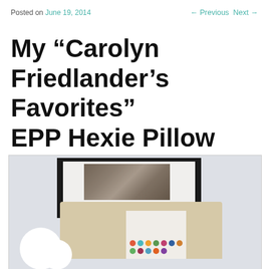Posted on June 19, 2014  ← Previous  Next →
My “Carolyn Friedlander’s Favorites” EPP Hexie Pillow
[Figure (photo): Photograph of a bedroom scene showing a framed artwork on a light gray wall above a cream/tan headboard, with a colorful hexie patchwork pillow and white decorative objects visible in the foreground.]